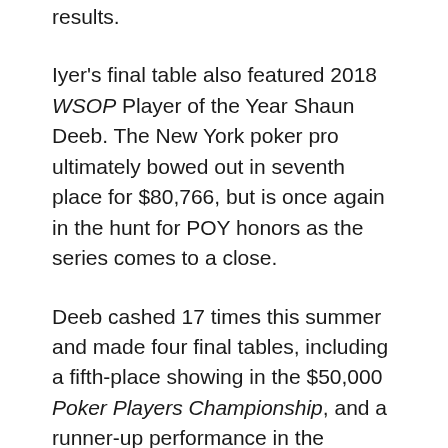results.
Iyer's final table also featured 2018 WSOP Player of the Year Shaun Deeb. The New York poker pro ultimately bowed out in seventh place for $80,766, but is once again in the hunt for POY honors as the series comes to a close.
Deeb cashed 17 times this summer and made four final tables, including a fifth-place showing in the $50,000 Poker Players Championship, and a runner-up performance in the $10,000 dealer's choice event.
Other notables to make a deep run in the tournament included Patrick Eskandar (5th), Steve Yea (8th), JC Tran (10th), Rex Clinkscales (15th), Ryan Leng (18th), Jonathan Tamayo (20th), Jeff